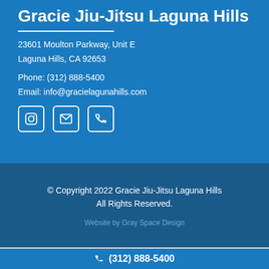Gracie Jiu-Jitsu Laguna Hills
23601 Moulton Parkway, Unit E
Laguna Hills, CA 92653
Phone: (312) 888-5400
Email: info@gracielagunahills.com
[Figure (infographic): Three social media/contact icons: Instagram, email envelope, and phone]
© Copyright 2022 Gracie Jiu-Jitsu Laguna Hills
All Rights Reserved.
Website by Gray Space Design
(312) 888-5400